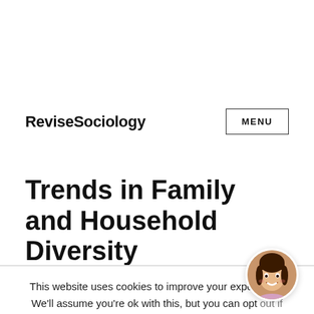ReviseSociology  MENU
Trends in Family and Household Diversity
This website uses cookies to improve your experience. We'll assume you're ok with this, but you can opt out if